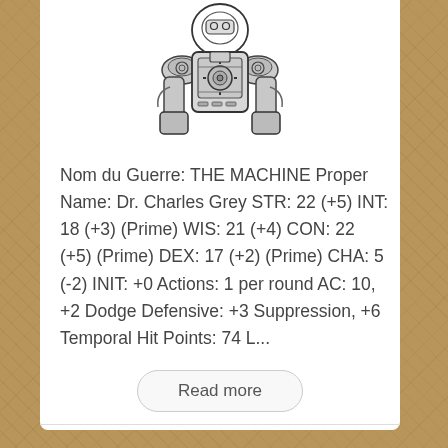[Figure (illustration): Black and white ink drawing of a mechanical humanoid figure (The Machine / Dr. Charles Grey), showing a heavily armored or cybernetic upper body with mechanical arms and gear-like components, viewed from slightly above.]
Nom du Guerre: THE MACHINE Proper Name: Dr. Charles Grey STR: 22 (+5) INT: 18 (+3) (Prime) WIS: 21 (+4) CON: 22 (+5) (Prime) DEX: 17 (+2) (Prime) CHA: 5 (-2) INIT: +0 Actions: 1 per round AC: 10, +2 Dodge Defensive: +3 Suppression, +6 Temporal Hit Points: 74 L...